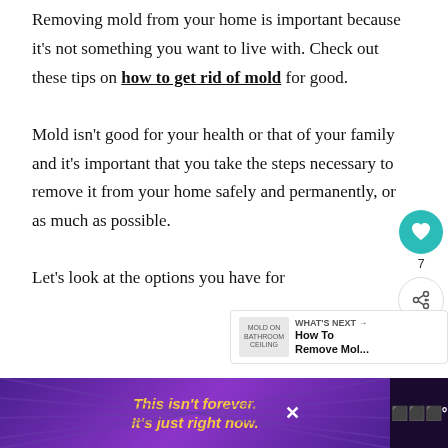Removing mold from your home is important because it's not something you want to live with. Check out these tips on how to get rid of mold for good.
Mold isn't good for your health or that of your family and it's important that you take the steps necessary to remove it from your home safely and permanently, or as much as possible.
Let's look at the options you have for
[Figure (infographic): Heart/like button (teal circle with heart icon) showing count 7, and a share button (white circle with share icon) below it]
[Figure (infographic): WHAT'S NEXT card showing thumbnail image of mold on bathroom ceiling and text 'How To Remove Mol...']
[Figure (infographic): Advertisement banner with purple/violet background: italic text 'This isn't forever. It's just right now.' in yellow/gold, with X close button and logo on right side]